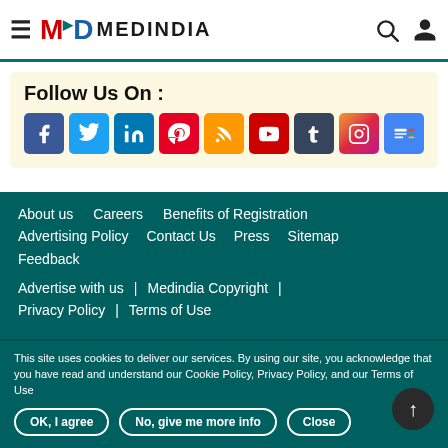MEDINDIA
Follow Us On :
[Figure (other): Social media icons: Facebook, Twitter, LinkedIn, Pinterest, RSS, YouTube, Tumblr, Instagram, Google News]
About us   Careers   Benefits of Registration
Advertising Policy   Contact Us   Press   Sitemap
Feedback
Advertise with us  |  Medindia Copyright  |
Privacy Policy  |  Terms of Use
This site uses cookies to deliver our services. By using our site, you acknowledge that you have read and understand our Cookie Policy, Privacy Policy, and our Terms of Use
OK, I agree   No, give me more info   Close